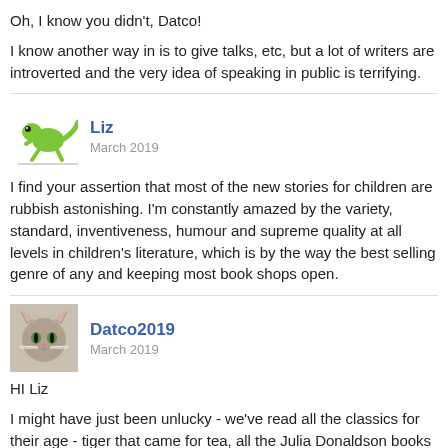Oh, I know you didn't, Datco!
I know another way in is to give talks, etc, but a lot of writers are introverted and the very idea of speaking in public is terrifying.
Liz
March 2019
I find your assertion that most of the new stories for children are rubbish astonishing. I'm constantly amazed by the variety, standard, inventiveness, humour and supreme quality at all levels in children's literature, which is by the way the best selling genre of any and keeping most book shops open.
Datco2019
March 2019
HI Liz
I might have just been unlucky - we've read all the classics for their age - tiger that came for tea, all the Julia Donaldson books Cat in the Hat etc etc but there may be loads that I've missed - recommendations very gladly received.